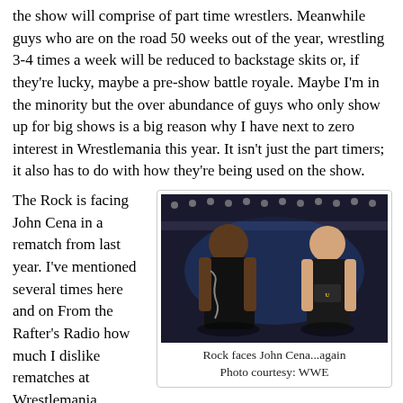the show will comprise of part time wrestlers. Meanwhile guys who are on the road 50 weeks out of the year, wrestling 3-4 times a week will be reduced to backstage skits or, if they're lucky, maybe a pre-show battle royale. Maybe I'm in the minority but the over abundance of guys who only show up for big shows is a big reason why I have next to zero interest in Wrestlemania this year. It isn't just the part timers; it also has to do with how they're being used on the show.
The Rock is facing John Cena in a rematch from last year. I've mentioned several times here and on From the Rafter's Radio how much I dislike rematches at Wrestlemania. Besides the rematch factor, this match seems to only be happening so John Cena
[Figure (photo): Two wrestlers facing each other in an arena setting. One is a large muscular bald man in a black sleeveless top facing away from camera, and the other is a man in a black t-shirt facing toward camera. Arena lighting visible in background.]
Rock faces John Cena...again
Photo courtesy: WWE